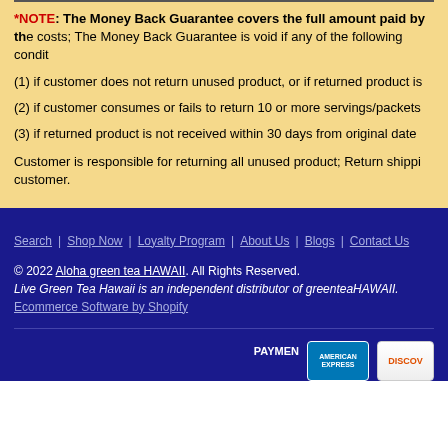*NOTE: The Money Back Guarantee covers the full amount paid by the customer, excluding shipping costs; The Money Back Guarantee is void if any of the following conditions are met:
(1) if customer does not return unused product, or if returned product is damaged
(2) if customer consumes or fails to return 10 or more servings/packets
(3) if returned product is not received within 30 days from original date of purchase
Customer is responsible for returning all unused product; Return shipping costs are the responsibility of the customer.
Search | Shop Now | Loyalty Program | About Us | Blogs | Contact Us
© 2022 Aloha green tea HAWAII. All Rights Reserved.
Live Green Tea Hawaii is an independent distributor of greenteaHAWAII.
Ecommerce Software by Shopify